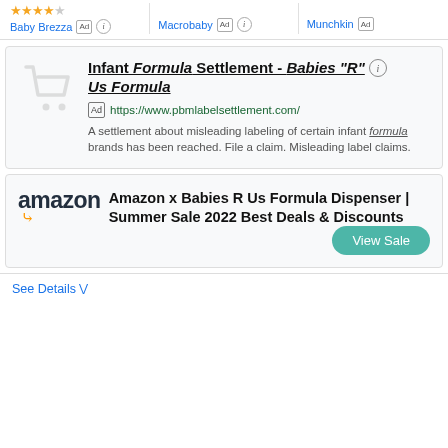Baby Brezza [Ad] [i]
Macrobaby [Ad] [i]
Munchkin [Ad]
Infant Formula Settlement - Babies "R" Us Formula
Ad https://www.pbmlabelsettlement.com/
A settlement about misleading labeling of certain infant formula brands has been reached. File a claim. Misleading label claims.
Amazon x Babies R Us Formula Dispenser | Summer Sale 2022 Best Deals & Discounts
View Sale
See Details ∨